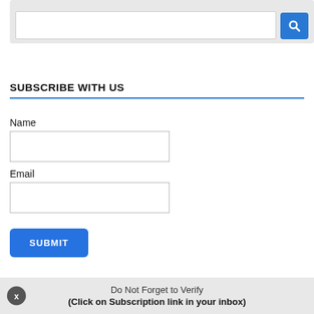[Figure (screenshot): Top portion of a Google search widget with search input box and blue search button]
SUBSCRIBE WITH US
Name
Email
SUBMIT
Do Not Forget to Verify
(Click on Subscription link in your inbox)